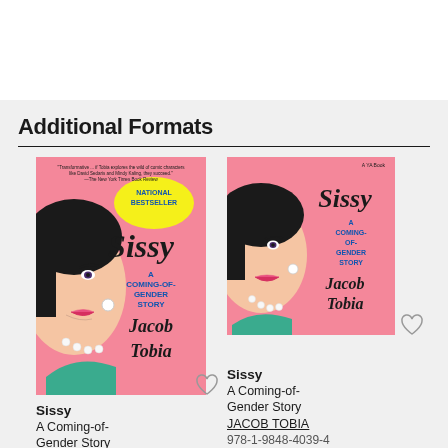Additional Formats
[Figure (illustration): Book cover of Sissy: A Coming-of-Gender Story by Jacob Tobia, paperback edition with NATIONAL BESTSELLER label, pink cover with illustrated face]
[Figure (illustration): Book cover of Sissy: A Coming-of-Gender Story by Jacob Tobia, audiobook edition, pink cover with illustrated face]
Sissy
A Coming-of-Gender Story
Sissy
A Coming-of-Gender Story
JACOB TOBIA
978-1-9848-4039-4
Audiobook